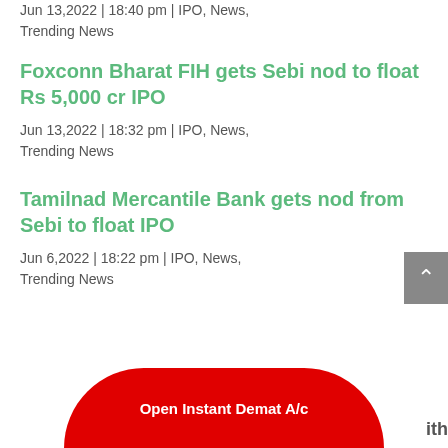Jun 13,2022 | 18:40 pm | IPO, News, Trending News
Foxconn Bharat FIH gets Sebi nod to float Rs 5,000 cr IPO
Jun 13,2022 | 18:32 pm | IPO, News, Trending News
Tamilnad Mercantile Bank gets nod from Sebi to float IPO
Jun 6,2022 | 18:22 pm | IPO, News, Trending News
Open Instant Demat A/c